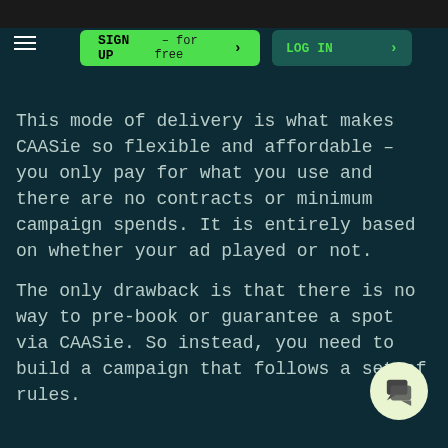[Figure (screenshot): Dark teal website header with hamburger menu icon on left, green SIGN UP button in center, and dark teal LOG IN button on right]
This mode of delivery is what makes CAASie so flexible and affordable – you only pay for what you use and there are no contracts or minimum campaign spends. It is entirely based on whether your ad played or not.
The only drawback is that there is no way to pre-book or guarantee a spot via CAASie. So instead, you need to build a campaign that follows a set of rules.